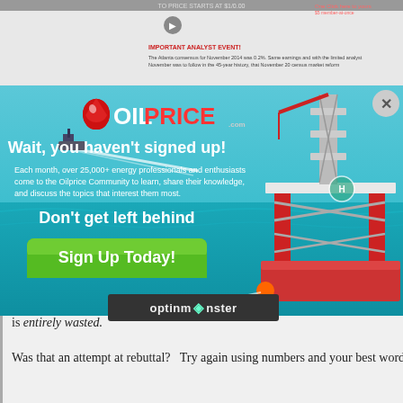[Figure (screenshot): Top portion of underlying OilPrice.com webpage, partially visible behind popup overlay, showing article content with red text headers and body text]
[Figure (infographic): OilPrice.com newsletter signup popup overlay with oil rig and ocean background image, OILPrice.com logo, headline 'Wait, you haven't signed up!', body text about 25,000+ energy professionals, subheading 'Don't get left behind', and green 'Sign Up Today!' button. Close X button in top right corner. OptinMonster badge at bottom.]
is entirely wasted.
Was that an attempt at rebuttal?   Try again using numbers and your best words.